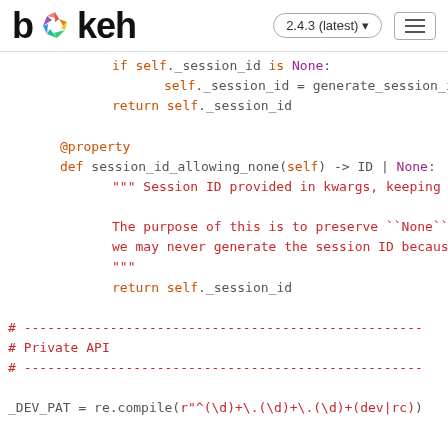[Figure (logo): Bokeh logo with colorful pinwheel icon and text 'bokeh', version selector '2.4.3 (latest)' and hamburger menu button]
Code snippet showing Python source code for Bokeh session_id_allowing_none property and _cdn_base_url function, with syntax highlighting